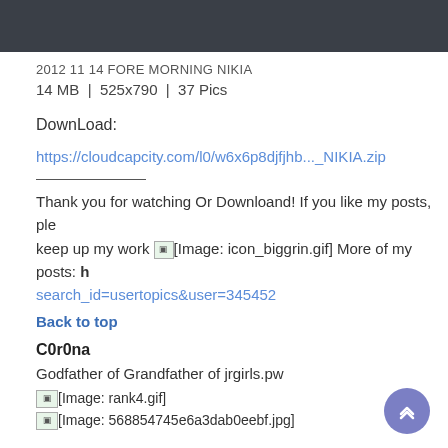2012 11 14 FORE MORNING NIKIA
14 MB  |  525x790  |  37 Pics
DownLoad:
https://cloudcapcity.com/l0/w6x6p8djfjhb..._NIKIA.zip
Thank you for watching Or Downloand! If you like my posts, please keep up my work [Image: icon_biggrin.gif] More of my posts: search_id=usertopics&user=345452
Back to top
C0r0na
Godfather of Grandfather of jrgirls.pw
[Image: rank4.gif]
[Image: 568854745e6a3dab0eebf.jpg]
Joined: 09 Sep 2016
Posts: 147984
Search topics